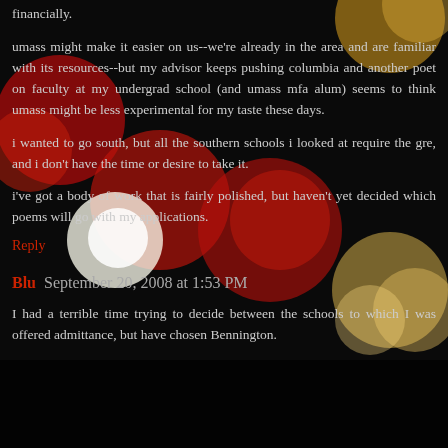financially.
umass might make it easier on us--we're already in the area and are familiar with its resources--but my advisor keeps pushing columbia and another poet on faculty at my undergrad school (and umass mfa alum) seems to think umass might be less experimental for my taste these days.
i wanted to go south, but all the southern schools i looked at require the gre, and i don't have the time or desire to take it.
i've got a body of work that is fairly polished, but haven't yet decided which poems will go with my applications.
Reply
Blu  September 20, 2008 at 1:53 PM
I had a terrible time trying to decide between the schools to which I was offered admittance, but have chosen Bennington.